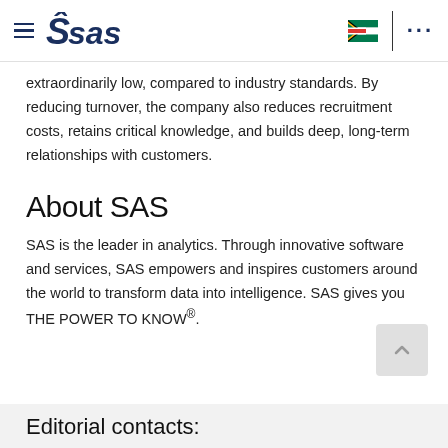SAS logo navigation header with hamburger menu, South Africa flag, and dots menu
extraordinarily low, compared to industry standards. By reducing turnover, the company also reduces recruitment costs, retains critical knowledge, and builds deep, long-term relationships with customers.
About SAS
SAS is the leader in analytics. Through innovative software and services, SAS empowers and inspires customers around the world to transform data into intelligence. SAS gives you THE POWER TO KNOW®.
Editorial contacts: